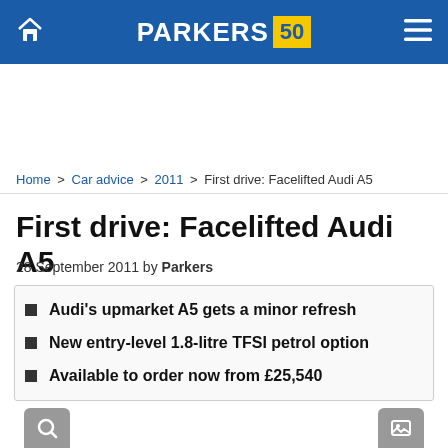PARKERS 50
Home > Car advice > 2011 > First drive: Facelifted Audi A5
First drive: Facelifted Audi A5
28 September 2011 by Parkers
Audi's upmarket A5 gets a minor refresh
New entry-level 1.8-litre TFSI petrol option
Available to order now from £25,540